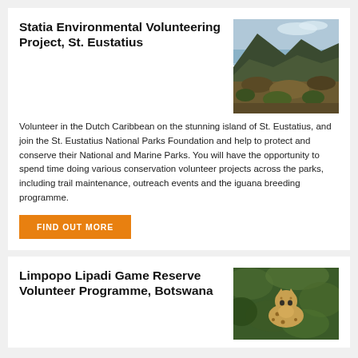Statia Environmental Volunteering Project, St. Eustatius
[Figure (photo): Aerial view of volcanic island St. Eustatius with rocky hillside, lush greenery, and bay in background]
Volunteer in the Dutch Caribbean on the stunning island of St. Eustatius, and join the St. Eustatius National Parks Foundation and help to protect and conserve their National and Marine Parks. You will have the opportunity to spend time doing various conservation volunteer projects across the parks, including trail maintenance, outreach events and the iguana breeding programme.
FIND OUT MORE
Limpopo Lipadi Game Reserve Volunteer Programme, Botswana
[Figure (photo): Cheetah or leopard sitting among green foliage in African game reserve]